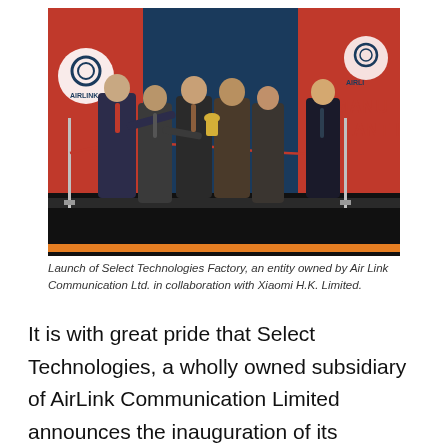[Figure (photo): A formal ceremony on a dark stage with six men in business suits standing and applauding/interacting. Background shows red and blue panels with Airlink logo on the left and a partially visible sign reading 'MANU... PLANT IN...' on the right. Red ribbon barriers are visible on the sides.]
Launch of Select Technologies Factory, an entity owned by Air Link Communication Ltd. in collaboration with Xiaomi H.K. Limited.
It is with great pride that Select Technologies, a wholly owned subsidiary of AirLink Communication Limited announces the inauguration of its manufacturing plant in Pakistan for the production of Xiaomi handsets. The event was held on March 4 at the factory